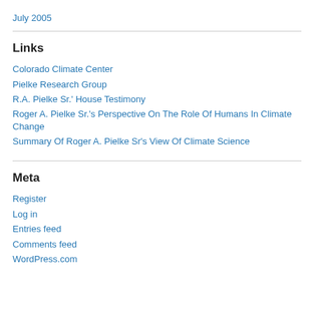July 2005
Links
Colorado Climate Center
Pielke Research Group
R.A. Pielke Sr.' House Testimony
Roger A. Pielke Sr.'s Perspective On The Role Of Humans In Climate Change
Summary Of Roger A. Pielke Sr's View Of Climate Science
Meta
Register
Log in
Entries feed
Comments feed
WordPress.com